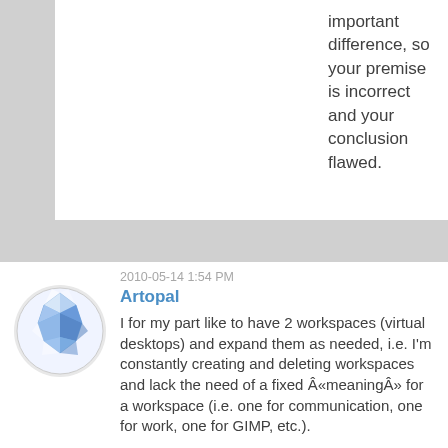important difference, so your premise is incorrect and your conclusion flawed.
[Figure (illustration): Blue diamond/gem avatar icon with white geometric facets on circular background]
2010-05-14 1:54 PM
Artopal
I for my part like to have 2 workspaces (virtual desktops) and expand them as needed, i.e. I'm constantly creating and deleting workspaces and lack the need of a fixed Â«meaningÂ» for a workspace (i.e. one for communication, one for work, one for GIMP, etc.).
On the other hand, I like my files handled by the file manager in list view, not scattered on the desktop, so I never use the Desktop folder and find it to be a rather quirky metaphor.
Having different backgrounds and widgets